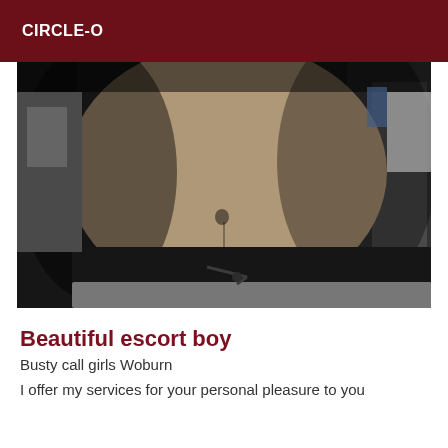CIRCLE-O
[Figure (photo): Close-up photo of a person's torso and midsection, showing bare stomach/abdomen area with black waistband and grey drawstring pants. Background shows a kitchen/bathroom setting.]
Beautiful escort boy
Busty call girls Woburn
I offer my services for your personal pleasure to you